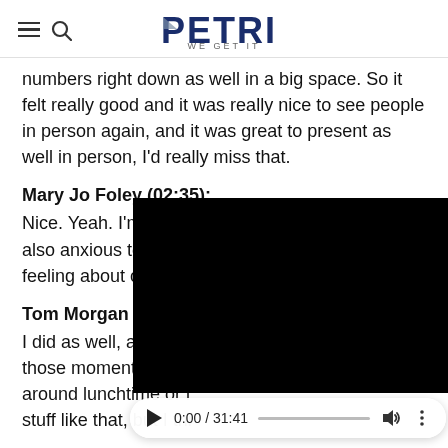PETRI WE GET IT
numbers right down as well in a big space. So it felt really good and it was really nice to see people in person again, and it was great to present as well in person, I'd really miss that.
Mary Jo Foley (02:35):
Nice. Yeah. I'm kind of apprehensive about it, but also anxious to go back to it. I have like this mixed feeling about conferences right now.
Tom Morgan (02:43):
I did as well, absolute those moments, like, y around lunchtime or l stuff like that, but I thi
[Figure (screenshot): Embedded video player overlay with black video area and playback controls showing 0:00 / 31:41]